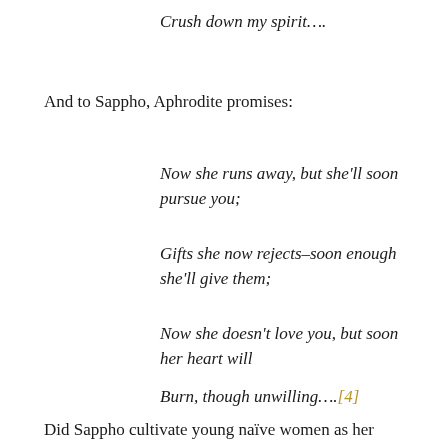Crush down my spirit….
And to Sappho, Aphrodite promises:
Now she runs away, but she'll soon pursue you;
Gifts she now rejects–soon enough she'll give them;
Now she doesn't love you, but soon her heart will
Burn, though unwilling….[4]
Did Sappho cultivate young naïve women as her